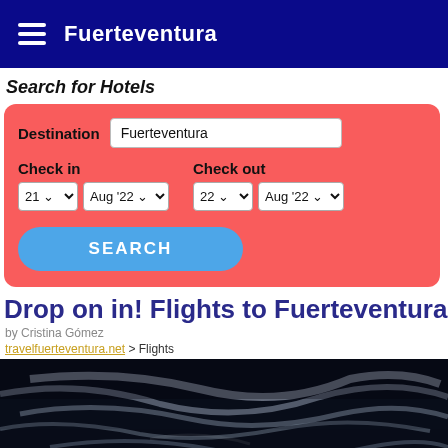Fuerteventura
Search for Hotels
Destination: Fuerteventura | Check in: 21 Aug '22 | Check out: 22 Aug '22 | SEARCH
Drop on in! Flights to Fuerteventura
by Cristina Gómez
travelfuerteventura.net > Flights
[Figure (photo): Satellite aerial view of Fuerteventura and surrounding Canary Islands from space, showing dark ocean with white cloud streaks and island landmasses]